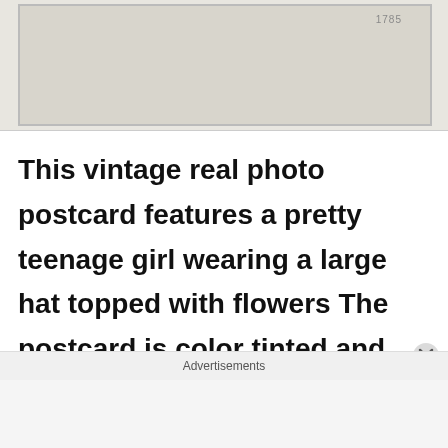[Figure (photo): Top portion of a vintage real photo postcard showing a light-colored background with a partial number '1785' visible in the upper right corner]
This vintage real photo postcard features a pretty teenage girl wearing a large hat topped with flowers The postcard is color tinted and published by Furia as part of a series (no. 1786).
Advertisements